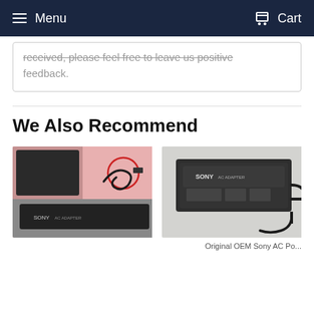Menu  Cart
received, please feel free to leave us positive feedback.
We Also Recommend
[Figure (photo): Sony power adapter/charger with cable coiled on pink background, showing connector detail circled in red, and Sony adapter brick at bottom]
[Figure (photo): Original Sony power adapter brick on white/grey speckled surface with cable]